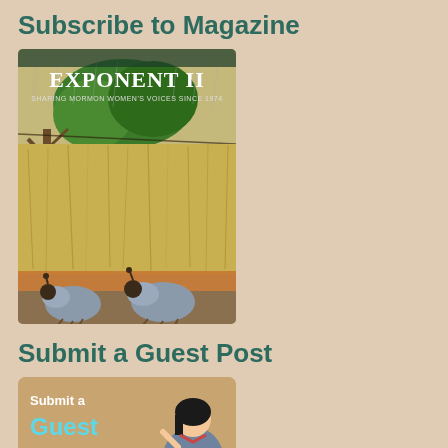Subscribe to Magazine
[Figure (illustration): Exponent II magazine cover showing quail birds in a field with green trees and rain, text reads EXPONENT II SHARING MORMON WOMEN'S VOICES SINCE 1974]
Submit a Guest Post
[Figure (illustration): Submit a Guest Post banner with text 'Submit a Guest Post' and an illustration of a Japanese woman in kimono]